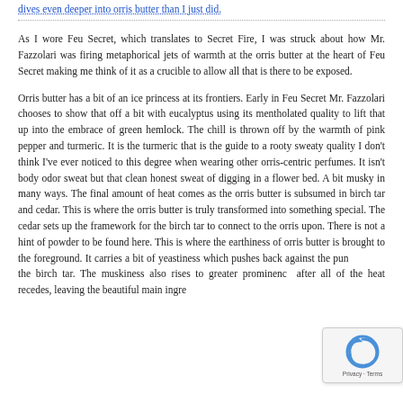dives even deeper into orris butter than I just did.
As I wore Feu Secret, which translates to Secret Fire, I was struck about how Mr. Fazzolari was firing metaphorical jets of warmth at the orris butter at the heart of Feu Secret making me think of it as a crucible to allow all that is there to be exposed.
Orris butter has a bit of an ice princess at its frontiers. Early in Feu Secret Mr. Fazzolari chooses to show that off a bit with eucalyptus using its mentholated quality to lift that up into the embrace of green hemlock. The chill is thrown off by the warmth of pink pepper and turmeric. It is the turmeric that is the guide to a rooty sweaty quality I don't think I've ever noticed to this degree when wearing other orris-centric perfumes. It isn't body odor sweat but that clean honest sweat of digging in a flower bed. A bit musky in many ways. The final amount of heat comes as the orris butter is subsumed in birch tar and cedar. This is where the orris butter is truly transformed into something special. The cedar sets up the framework for the birch tar to connect to the orris upon. There is not a hint of powder to be found here. This is where the earthiness of orris butter is brought to the foreground. It carries a bit of yeastiness which pushes back against the pungency of the birch tar. The muskiness also rises to greater prominence after all of the heat recedes, leaving the beautiful main ingredient as